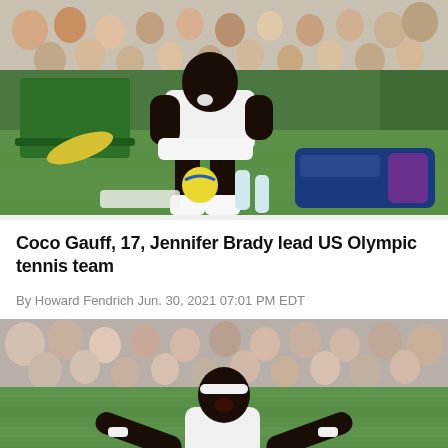[Figure (photo): Tennis player (Coco Gauff) in white outfit sitting on a bench at Wimbledon during a changeover, with green chairs, tennis bag, water bottles, and crowd in background.]
Coco Gauff, 17, Jennifer Brady lead US Olympic tennis team
By Howard Fendrich Jun. 30, 2021 07:01 PM EDT
[Figure (photo): Tennis player in white outfit celebrating with arms out and head back, looking up, on a grass court with crowd in background at Wimbledon.]